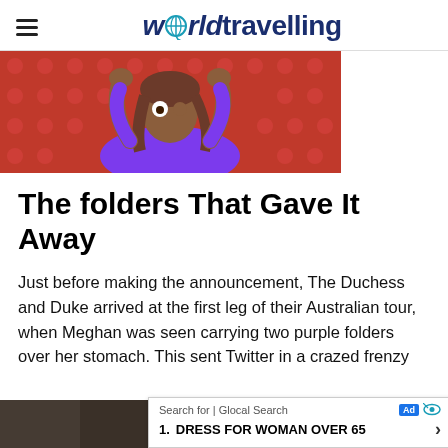worldtravelling
[Figure (illustration): Cartoon emoji-style illustration of a dark-skinned woman with brown hair, arms raised, hands on head, wearing a purple shirt, on a red polka-dot background]
The folders That Gave It Away
Just before making the announcement, The Duchess and Duke arrived at the first leg of their Australian tour, when Meghan was seen carrying two purple folders over her stomach. This sent Twitter in a crazed frenzy
[Figure (screenshot): Ad overlay: Search for | Glocal Search, with Ad badge and eye icon. Item 1: DRESS FOR WOMAN OVER 65 with chevron arrow.]